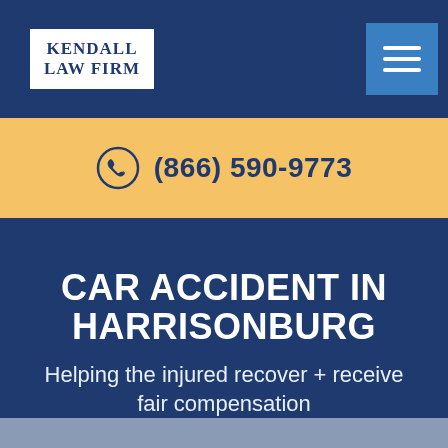Kendall Law Firm
(866) 590-9773
CAR ACCIDENT IN HARRISONBURG
Helping the injured recover + receive fair compensation
[Figure (photo): Bottom image strip showing a car accident scene]